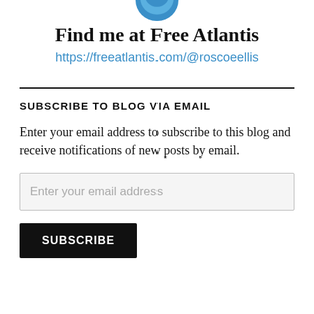[Figure (illustration): Partial circular avatar/logo image cropped at top, showing blue curved shape at bottom of circle]
Find me at Free Atlantis
https://freeatlantis.com/@roscoeellis
SUBSCRIBE TO BLOG VIA EMAIL
Enter your email address to subscribe to this blog and receive notifications of new posts by email.
Enter your email address
SUBSCRIBE